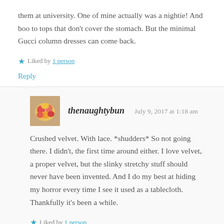them at university. One of mine actually was a nightie! And boo to tops that don't cover the stomach. But the minimal Gucci column dresses can come back.
Liked by 1 person
Reply
thenaughtybun   July 9, 2017 at 1:18 am
Crushed velvet. With lace. *shudders* So not going there. I didn't, the first time around either. I love velvet, a proper velvet, but the slinky stretchy stuff should never have been invented. And I do my best at hiding my horror every time I see it used as a tablecloth. Thankfully it's been a while.
Liked by 1 person